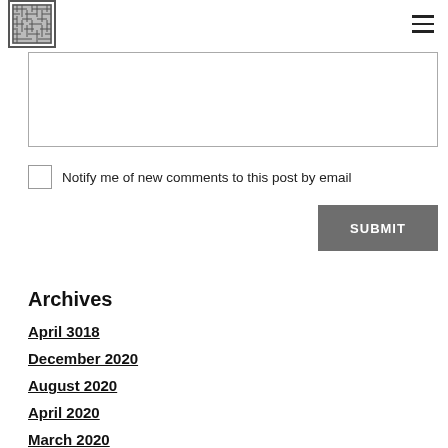[Figure (logo): Square maze/labyrinth pattern logo in gray]
[Figure (other): Hamburger menu icon with three horizontal lines]
[Figure (other): Text input area / textarea box]
Notify me of new comments to this post by email
SUBMIT
Archives
April 3018
December 2020
August 2020
April 2020
March 2020
December 2019